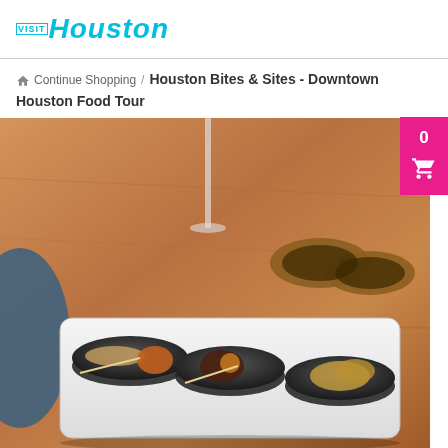VISIT Houston
Continue Shopping / Houston Bites & Sites - Downtown Houston Food Tour
[Figure (photo): Three small black bowls on a white rectangular plate on a wooden table, each containing different appetizer food items. In the background is a wine glass and a pair of tortoiseshell sunglasses.]
0 (cart icon)